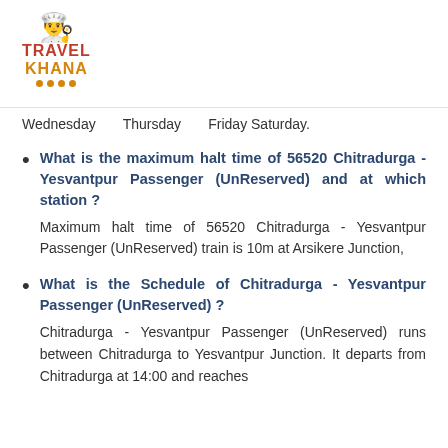Travel Khana logo
Wednesday   Thursday   Friday Saturday.
What is the maximum halt time of 56520 Chitradurga - Yesvantpur Passenger (UnReserved) and at which station?
Maximum halt time of 56520 Chitradurga - Yesvantpur Passenger (UnReserved) train is 10m at Arsikere Junction,
What is the Schedule of Chitradurga - Yesvantpur Passenger (UnReserved) ?
Chitradurga - Yesvantpur Passenger (UnReserved) runs between Chitradurga to Yesvantpur Junction. It departs from Chitradurga at 14:00 and reaches